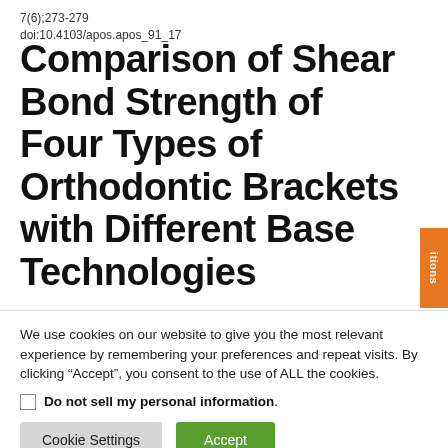7(6);273-279
doi:10.4103/apos.apos_91_17
Comparison of Shear Bond Strength of Four Types of Orthodontic Brackets with Different Base Technologies
We use cookies on our website to give you the most relevant experience by remembering your preferences and repeat visits. By clicking “Accept”, you consent to the use of ALL the cookies.
Do not sell my personal information
Cookie Settings  Accept